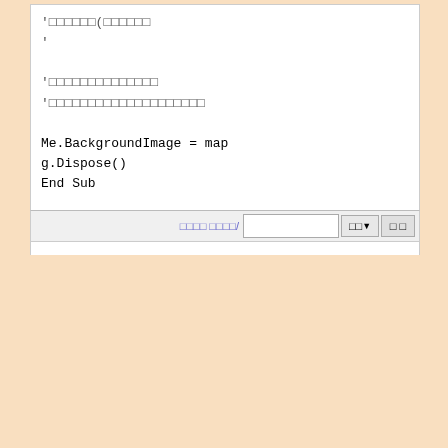'□□□□□□(□□□□□□
'
'□□□□□□□□□□□□□□
'□□□□□□□□□□□□□□□□□□□□

Me.BackgroundImage = map
g.Dispose()
End Sub

End Class
[Figure (screenshot): Toolbar at bottom of code editor window with a label in Korean/encoded characters, a text input field, a dropdown selector, and a button]